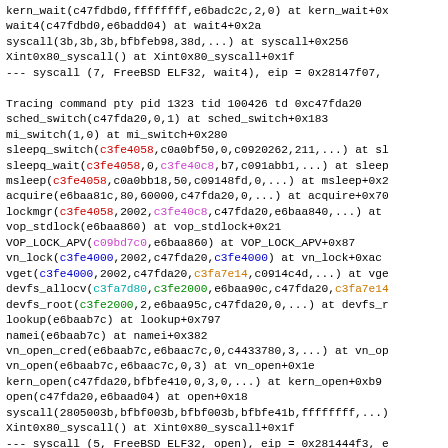kern_wait(c47fdbd0,ffffffff,e6badc2c,2,0) at kern_wait+0x... wait4(c47fdbd0,e6badd04) at wait4+0x2a syscall(3b,3b,3b,bfbfeb98,38d,...) at syscall+0x256 Xint0x80_syscall() at Xint0x80_syscall+0x1f --- syscall (7, FreeBSD ELF32, wait4), eip = 0x28147f07, Tracing command pty pid 1323 tid 100426 td 0xc47fda20 sched_switch(c47fda20,0,1) at sched_switch+0x183 mi_switch(1,0) at mi_switch+0x280 sleepq_switch(c3fe4058,c0a0bf50,0,c0920262,211,...) at sl sleepq_wait(c3fe4058,0,c3fe40c8,b7,c091abb1,...) at sleep msleep(c3fe4058,c0a0bb18,50,c09148fd,0,...) at msleep+0x2 acquire(e6baa81c,80,60000,c47fda20,0,...) at acquire+0x70 lockmgr(c3fe4058,2002,c3fe40c8,c47fda20,e6baa840,...) at vop_stdlock(e6baa860) at vop_stdlock+0x21 VOP_LOCK_APV(c09bd7c0,e6baa860) at VOP_LOCK_APV+0x87 vn_lock(c3fe4000,2002,c47fda20,c3fe4000) at vn_lock+0xac vget(c3fe4000,2002,c47fda20,c3fa7e14,c0914c4d,...) at vge devfs_allocv(c3fa7d80,c3fe2000,e6baa90c,c47fda20,c3fa7e14 devfs_root(c3fe2000,2,e6baa95c,c47fda20,0,...) at devfs_r lookup(e6baab7c) at lookup+0x797 namei(e6baab7c) at namei+0x382 vn_open_cred(e6baab7c,e6baac7c,0,c4433780,3,...) at vn_op vn_open(e6baab7c,e6baac7c,0,3) at vn_open+0x1e kern_open(c47fda20,bfbfe410,0,3,0,...) at kern_open+0xb9 open(c47fda20,e6baad04) at open+0x18 syscall(2805003b,bfbf003b,bfbf003b,bfbfe41b,ffffffff,...) Xint0x80_syscall() at Xint0x80_syscall+0x1f --- syscall (5, FreeBSD ELF32, open), eip = 0x281444f3, e